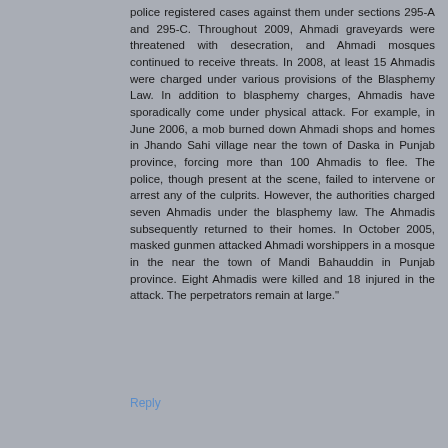police registered cases against them under sections 295-A and 295-C. Throughout 2009, Ahmadi graveyards were threatened with desecration, and Ahmadi mosques continued to receive threats. In 2008, at least 15 Ahmadis were charged under various provisions of the Blasphemy Law. In addition to blasphemy charges, Ahmadis have sporadically come under physical attack. For example, in June 2006, a mob burned down Ahmadi shops and homes in Jhando Sahi village near the town of Daska in Punjab province, forcing more than 100 Ahmadis to flee. The police, though present at the scene, failed to intervene or arrest any of the culprits. However, the authorities charged seven Ahmadis under the blasphemy law. The Ahmadis subsequently returned to their homes. In October 2005, masked gunmen attacked Ahmadi worshippers in a mosque in the near the town of Mandi Bahauddin in Punjab province. Eight Ahmadis were killed and 18 injured in the attack. The perpetrators remain at large."
Reply